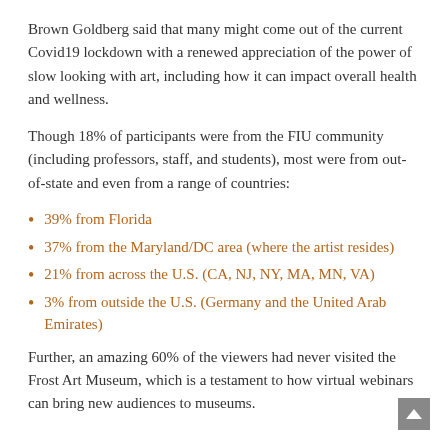Brown Goldberg said that many might come out of the current Covid19 lockdown with a renewed appreciation of the power of slow looking with art, including how it can impact overall health and wellness.
Though 18% of participants were from the FIU community (including professors, staff, and students), most were from out-of-state and even from a range of countries:
39% from Florida
37% from the Maryland/DC area (where the artist resides)
21% from across the U.S. (CA, NJ, NY, MA, MN, VA)
3% from outside the U.S. (Germany and the United Arab Emirates)
Further, an amazing 60% of the viewers had never visited the Frost Art Museum, which is a testament to how virtual webinars can bring new audiences to museums.